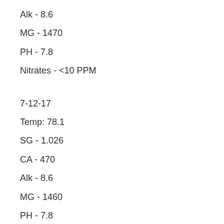Alk - 8.6
MG - 1470
PH - 7.8
Nitrates - <10 PPM
7-12-17
Temp: 78.1
SG - 1.026
CA - 470
Alk - 8.6
MG - 1460
PH - 7.8
Nitrates - <20 PPM